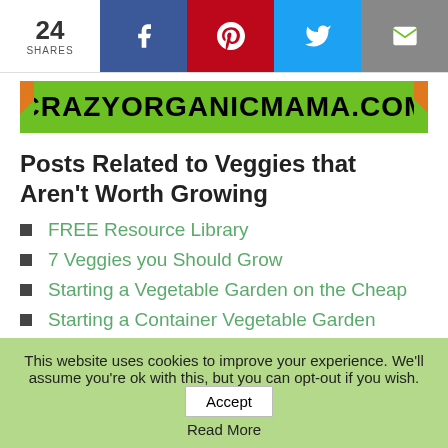24 SHARES | Facebook | Pinterest | Twitter | Email
[Figure (logo): CRAZYORGANICMAMA.COM logo on green banner with orange corner accents]
Posts Related to Veggies that Aren't Worth Growing
FREE Resource Library
7 Veggies you Should Grow
Starting a Vegetable Garden on the Cheap
Starting a Container Vegetable Garden
This website uses cookies to improve your experience. We'll assume you're ok with this, but you can opt-out if you wish. Accept
Read More